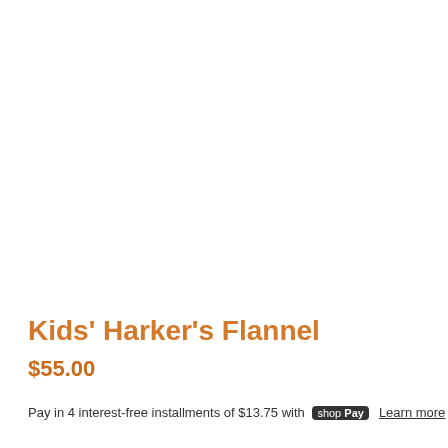Kids' Harker's Flannel
$55.00
Pay in 4 interest-free installments of $13.75 with shop Pay Learn more